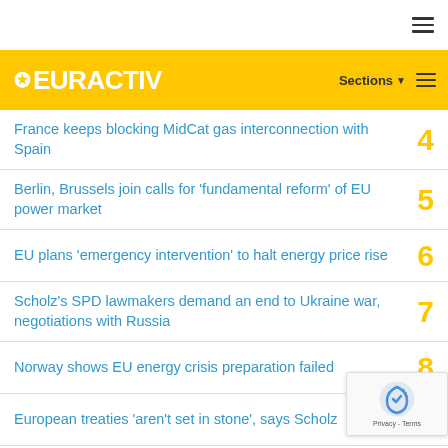EURACTIV
France keeps blocking MidCat gas interconnection with Spain
Berlin, Brussels join calls for 'fundamental reform' of EU power market
EU plans 'emergency intervention' to halt energy price rise
Scholz's SPD lawmakers demand an end to Ukraine war, negotiations with Russia
Norway shows EU energy crisis preparation failed
European treaties 'aren't set in stone', says Scholz
Kazakhstan halts arms exports amid Ukraine war